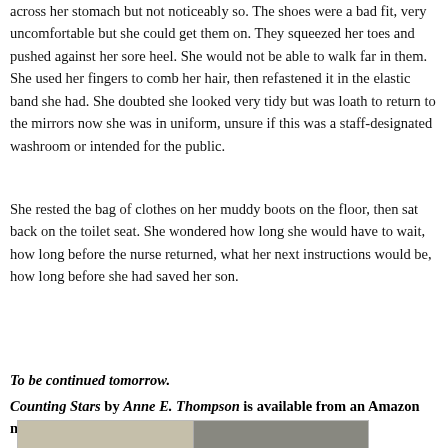across her stomach but not noticeably so. The shoes were a bad fit, very uncomfortable but she could get them on. They squeezed her toes and pushed against her sore heel. She would not be able to walk far in them. She used her fingers to comb her hair, then refastened it in the elastic band she had. She doubted she looked very tidy but was loath to return to the mirrors now she was in uniform, unsure if this was a staff-designated washroom or intended for the public.
She rested the bag of clothes on her muddy boots on the floor, then sat back on the toilet seat. She wondered how long she would have to wait, how long before the nurse returned, what her next instructions would be, how long before she had saved her son.
To be continued tomorrow.
Counting Stars by Anne E. Thompson is available from an Amazon near you. UK Link Here!
[Figure (photo): Photograph showing indoor/outdoor scene, appears to be book-related promotional image]